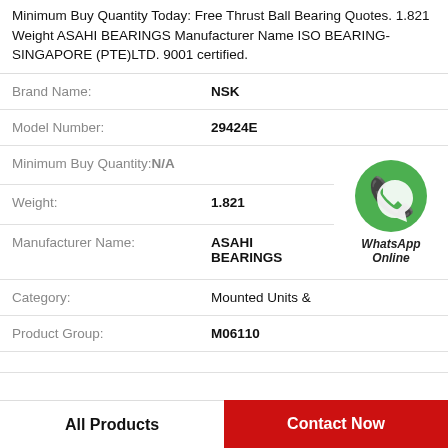Minimum Buy Quantity Today: Free Thrust Ball Bearing Quotes. 1.821 Weight ASAHI BEARINGS Manufacturer Name ISO BEARING-SINGAPORE (PTE)LTD. 9001 certified.
| Field | Value |
| --- | --- |
| Brand Name: | NSK |
| Model Number: | 29424E |
| Minimum Buy Quantity: | N/A |
| Weight: | 1.821 |
| Manufacturer Name: | ASAHI BEARINGS |
| Category: | Mounted Units & |
| Product Group: | M06110 |
[Figure (logo): WhatsApp Online green phone icon with text 'WhatsApp Online']
All Products
Contact Now